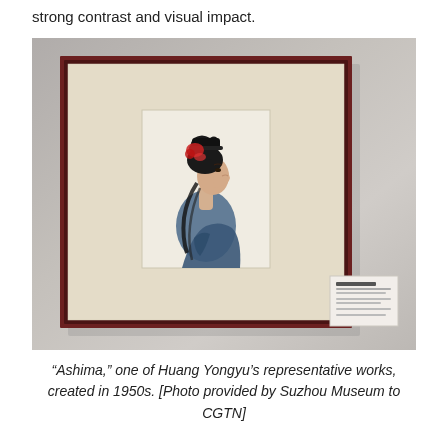strong contrast and visual impact.
[Figure (photo): A framed artwork hanging on a museum wall. The dark reddish-brown square frame contains a beige/cream mat with a smaller painting at center depicting a woman in profile with elaborate hair ornaments and blue clothing, seen from the side. A small museum label card is visible on the wall to the lower right of the frame.]
“Ashima,” one of Huang Yongyu’s representative works, created in 1950s. [Photo provided by Suzhou Museum to CGTN]